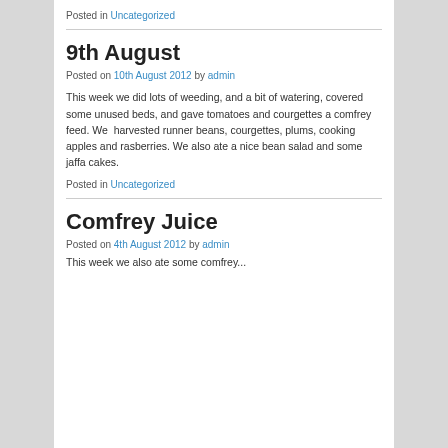Posted in Uncategorized
9th August
Posted on 10th August 2012 by admin
This week we did lots of weeding, and a bit of watering, covered some unused beds, and gave tomatoes and courgettes a comfrey feed. We  harvested runner beans, courgettes, plums, cooking apples and rasberries. We also ate a nice bean salad and some jaffa cakes.
Posted in Uncategorized
Comfrey Juice
Posted on 4th August 2012 by admin
This week...